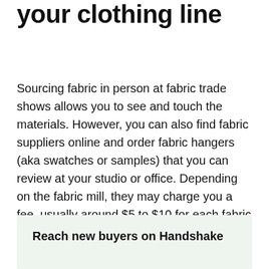your clothing line
Sourcing fabric in person at fabric trade shows allows you to see and touch the materials. However, you can also find fabric suppliers online and order fabric hangers (aka swatches or samples) that you can review at your studio or office. Depending on the fabric mill, they may charge you a fee, usually around $5 to $10 for each fabric hanger.
Reach new buyers on Handshake